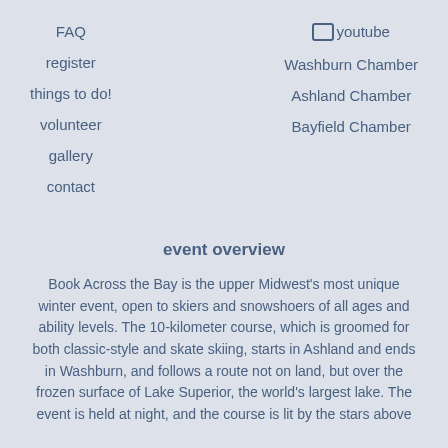FAQ
youtube
register
Washburn Chamber
things to do!
Ashland Chamber
volunteer
Bayfield Chamber
gallery
contact
event overview
Book Across the Bay is the upper Midwest's most unique winter event, open to skiers and snowshoers of all ages and ability levels. The 10-kilometer course, which is groomed for both classic-style and skate skiing, starts in Ashland and ends in Washburn, and follows a route not on land, but over the frozen surface of Lake Superior, the world's largest lake. The event is held at night, and the course is lit by the stars above